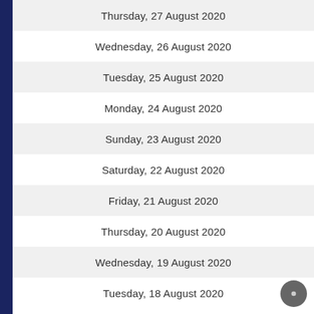Thursday, 27 August 2020
Wednesday, 26 August 2020
Tuesday, 25 August 2020
Monday, 24 August 2020
Sunday, 23 August 2020
Saturday, 22 August 2020
Friday, 21 August 2020
Thursday, 20 August 2020
Wednesday, 19 August 2020
Tuesday, 18 August 2020